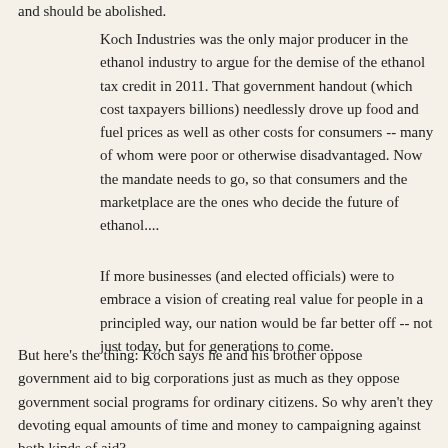and should be abolished.
Koch Industries was the only major producer in the ethanol industry to argue for the demise of the ethanol tax credit in 2011. That government handout (which cost taxpayers billions) needlessly drove up food and fuel prices as well as other costs for consumers -- many of whom were poor or otherwise disadvantaged. Now the mandate needs to go, so that consumers and the marketplace are the ones who decide the future of ethanol....
If more businesses (and elected officials) were to embrace a vision of creating real value for people in a principled way, our nation would be far better off -- not just today, but for generations to come.
But here's the thing: Koch says he and his brother oppose government aid to big corporations just as much as they oppose government social programs for ordinary citizens. So why aren't they devoting equal amounts of time and money to campaigning against both kinds of aid?